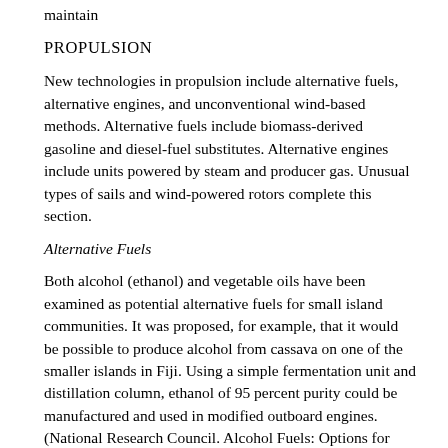maintain
PROPULSION
New technologies in propulsion include alternative fuels, alternative engines, and unconventional wind-based methods. Alternative fuels include biomass-derived gasoline and diesel-fuel substitutes. Alternative engines include units powered by steam and producer gas. Unusual types of sails and wind-powered rotors complete this section.
Alternative Fuels
Both alcohol (ethanol) and vegetable oils have been examined as potential alternative fuels for small island communities. It was proposed, for example, that it would be possible to produce alcohol from cassava on one of the smaller islands in Fiji. Using a simple fermentation unit and distillation column, ethanol of 95 percent purity could be manufactured and used in modified outboard engines.(National Research Council. Alcohol Fuels: Options for Developing Countries. National Academy Press, Washington